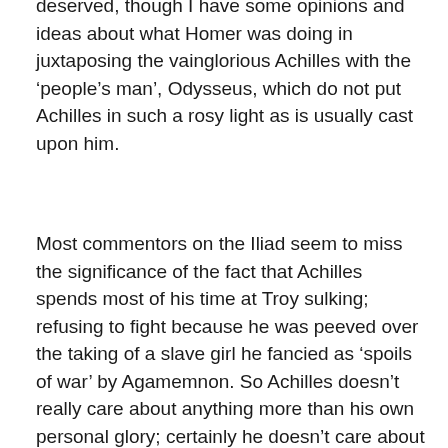deserved, though I have some opinions and ideas about what Homer was doing in juxtaposing the vainglorious Achilles with the ‘people’s man’, Odysseus, which do not put Achilles in such a rosy light as is usually cast upon him.
Most commentors on the Iliad seem to miss the significance of the fact that Achilles spends most of his time at Troy sulking; refusing to fight because he was peeved over the taking of a slave girl he fancied as ‘spoils of war’ by Agamemnon. So Achilles doesn’t really care about anything more than his own personal glory; certainly he doesn’t care about the success of the expedition: When he finally does come out to fight, it is not as a general and